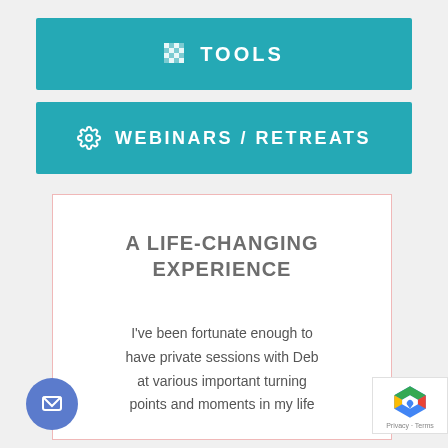TOOLS
WEBINARS / RETREATS
A LIFE-CHANGING EXPERIENCE
I've been fortunate enough to have private sessions with Deb at various important turning points and moments in my life